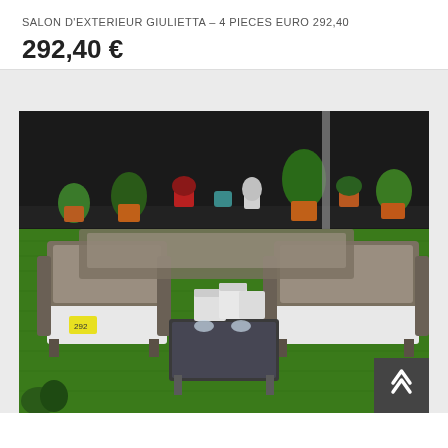SALON D'EXTERIEUR GIULIETTA – 4 PIECES EURO 292,40
292,40 €
[Figure (photo): Outdoor rattan garden furniture set (Giulietta) with two armchairs and a sofa, white cushions, coffee table with decorative items, displayed on artificial grass with potted plants in the background against a dark backdrop.]